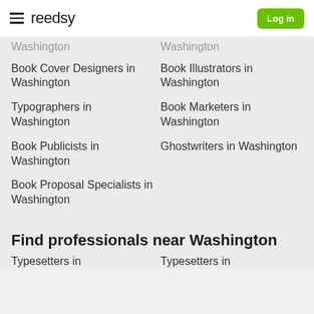reedsy | Log in
Washington (clipped top left)
Washington (clipped top right)
Book Cover Designers in Washington
Book Illustrators in Washington
Typographers in Washington
Book Marketers in Washington
Book Publicists in Washington
Ghostwriters in Washington
Book Proposal Specialists in Washington
Find professionals near Washington
Typesetters in (clipped)
Typesetters in (clipped)